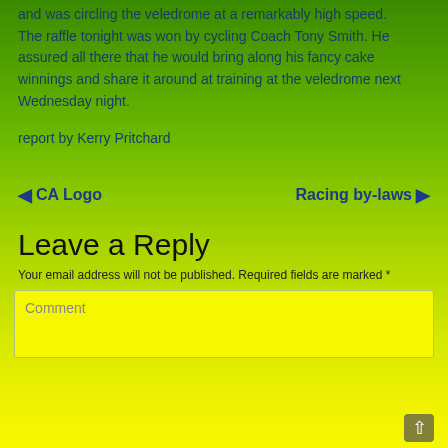and was circling the veledrome at a remarkably high speed. The raffle tonight was won by cycling Coach Tony Smith. He assured all there that he would bring along his fancy cake winnings and share it around at training at the veledrome next Wednesday night.
report by Kerry Pritchard
◄ CA Logo    Racing by-laws ►
Leave a Reply
Your email address will not be published. Required fields are marked *
Comment